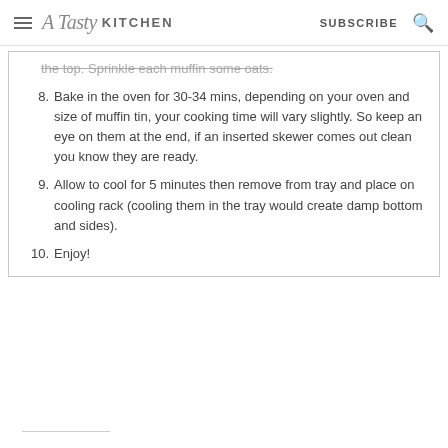A Tasty Kitchen  SUBSCRIBE
the top. Sprinkle each muffin some oats.
8. Bake in the oven for 30-34 mins, depending on your oven and size of muffin tin, your cooking time will vary slightly. So keep an eye on them at the end, if an inserted skewer comes out clean you know they are ready.
9. Allow to cool for 5 minutes then remove from tray and place on cooling rack (cooling them in the tray would create damp bottom and sides).
10. Enjoy!